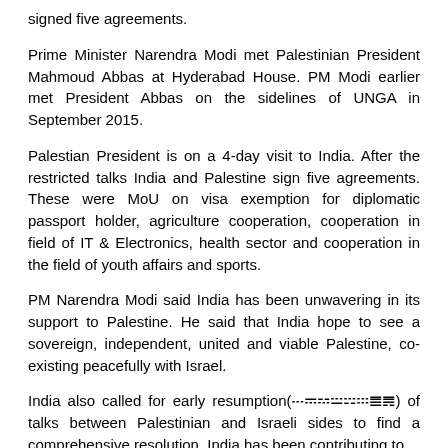signed five agreements.
Prime Minister Narendra Modi met Palestinian President Mahmoud Abbas at Hyderabad House. PM Modi earlier met President Abbas on the sidelines of UNGA in September 2015.
Palestian President is on a 4-day visit to India. After the restricted talks India and Palestine sign five agreements. These were MoU on visa exemption for diplomatic passport holder, agriculture cooperation, cooperation in field of IT & Electronics, health sector and cooperation in the field of youth affairs and sports.
PM Narendra Modi said India has been unwavering in its support to Palestine. He said that India hope to see a sovereign, independent, united and viable Palestine, co-existing peacefully with Israel.
India also called for early resumption(ββββββββ) of talks between Palestinian and Israeli sides to find a comprehensive resolution. India has been contributing to